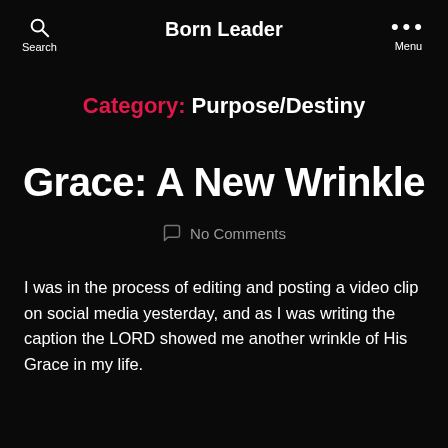Born Leader
Category: Purpose/Destiny
Grace: A New Wrinkle
No Comments
I was in the process of editing and posting a video clip on social media yesterday, and as I was writing the caption the LORD showed me another wrinkle of His Grace in my life.